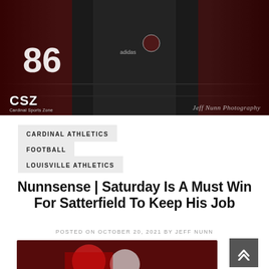[Figure (photo): Top banner photo of a football coach in a dark adidas polo with Louisville Cardinals logo, standing on sideline with players in red jerseys including number 86, CSZ Cardinal Sports Zone watermark on left, Jeff Nunn Photography signature on right, dark stadium background]
CARDINAL ATHLETICS
FOOTBALL
LOUISVILLE ATHLETICS
Nunnsense | Saturday Is A Must Win For Satterfield To Keep His Job
POSTED ON OCTOBER 20, 2021 BY JEFF NUNN
[Figure (photo): Bottom partial photo showing football players in red and white Louisville Cardinals helmets and uniforms, blurred action shot]